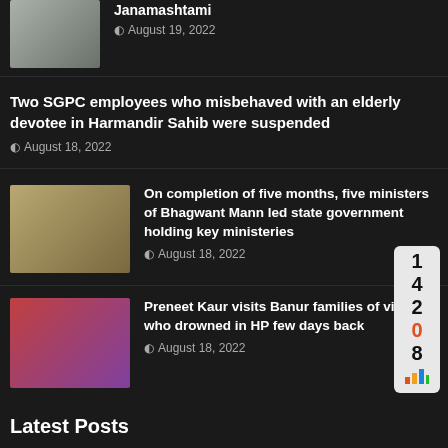[Figure (photo): Partial top news item with a person thumbnail and 'Janamashtami' headline from August 19, 2022]
Janamashtami
August 19, 2022
Two SGPC employees who misbehaved with an elderly devotee in Harmandir Sahib were suspended
August 18, 2022
[Figure (photo): Group of men including politicians at a meeting table with media microphones]
On completion of five months, five ministers of Bhagwant Mann led state government holding key ministeries
August 18, 2022
[Figure (photo): Women in traditional Indian dress gathered together]
Preneet Kaur visits Banur families of victims who drowned in HP few days back
August 18, 2022
Latest Posts